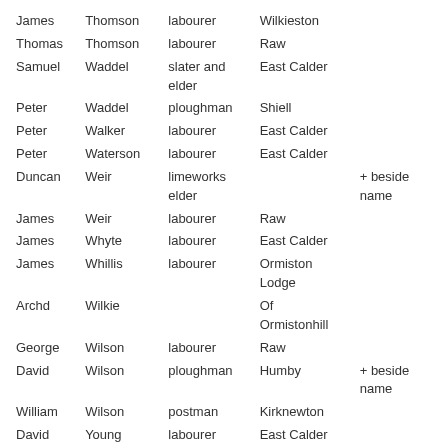| James | Thomson | labourer | Wilkieston |  |
| Thomas | Thomson | labourer | Raw |  |
| Samuel | Waddel | slater and elder | East Calder |  |
| Peter | Waddel | ploughman | Shiell |  |
| Peter | Walker | labourer | East Calder |  |
| Peter | Waterson | labourer | East Calder |  |
| Duncan | Weir | limeworks elder |  | + beside name |
| James | Weir | labourer | Raw |  |
| James | Whyte | labourer | East Calder |  |
| James | Whillis | labourer | Ormiston Lodge |  |
| Archd | Wilkie |  | Of Ormistonhill |  |
| George | Wilson | labourer | Raw |  |
| David | Wilson | ploughman | Humby | + beside name |
| William | Wilson | postman | Kirknewton |  |
| David | Young | labourer | East Calder |  |